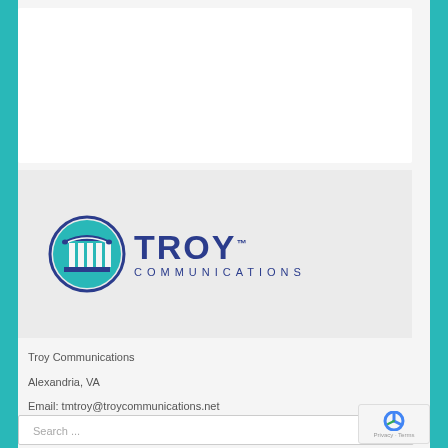[Figure (logo): Troy Communications logo: circular teal emblem with column/pillar design, navy blue text 'TROY' with trademark symbol, and 'COMMUNICATIONS' subtitle below]
Troy Communications
Alexandria, VA
Email: tmtroy@troycommunications.net
Schedule a Free Consultation
Search ...